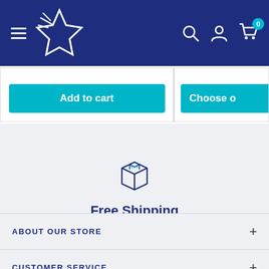Navigation header with hamburger menu, star logo, search icon, account icon, and cart with 0 items
Add to cart
Choose o...
[Figure (illustration): Box/package icon outline in dark navy blue]
Free Shipping
No minimum required
[Figure (infographic): Carousel pagination dots: 4 dots, first one dark navy (active), rest grey]
ABOUT OUR STORE
CUSTOMER SERVICE